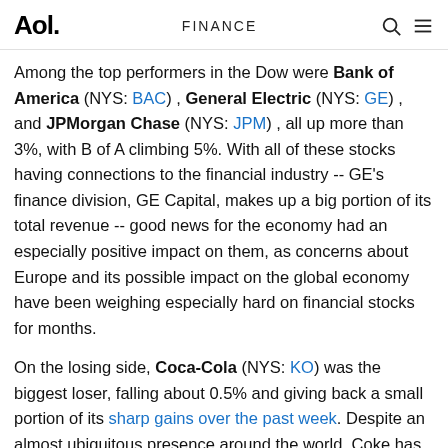Aol.   FINANCE
Among the top performers in the Dow were Bank of America (NYS: BAC) , General Electric (NYS: GE) , and JPMorgan Chase (NYS: JPM) , all up more than 3%, with B of A climbing 5%. With all of these stocks having connections to the financial industry -- GE's finance division, GE Capital, makes up a big portion of its total revenue -- good news for the economy had an especially positive impact on them, as concerns about Europe and its possible impact on the global economy have been weighing especially hard on financial stocks for months.
On the losing side, Coca-Cola (NYS: KO) was the biggest loser, falling about 0.5% and giving back a small portion of its sharp gains over the past week. Despite an almost ubiquitous presence around the world, Coke has